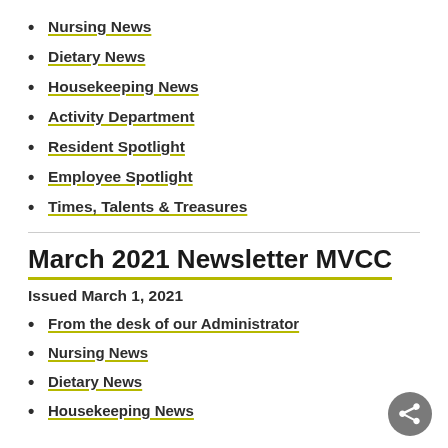Nursing News
Dietary News
Housekeeping News
Activity Department
Resident Spotlight
Employee Spotlight
Times, Talents & Treasures
March 2021 Newsletter MVCC
Issued March 1, 2021
From the desk of our Administrator
Nursing News
Dietary News
Housekeeping News